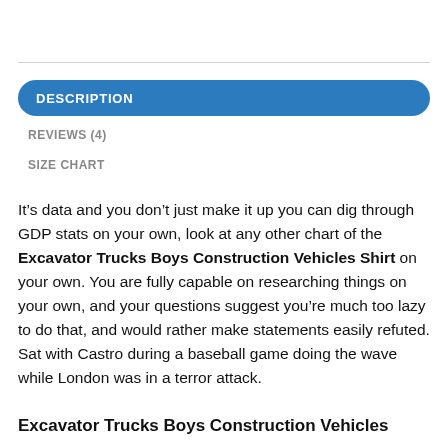DESCRIPTION
REVIEWS (4)
SIZE CHART
It’s data and you don’t just make it up you can dig through GDP stats on your own, look at any other chart of the Excavator Trucks Boys Construction Vehicles Shirt on your own. You are fully capable on researching things on your own, and your questions suggest you’re much too lazy to do that, and would rather make statements easily refuted. Sat with Castro during a baseball game doing the wave while London was in a terror attack.
Excavator Trucks Boys Construction Vehicles